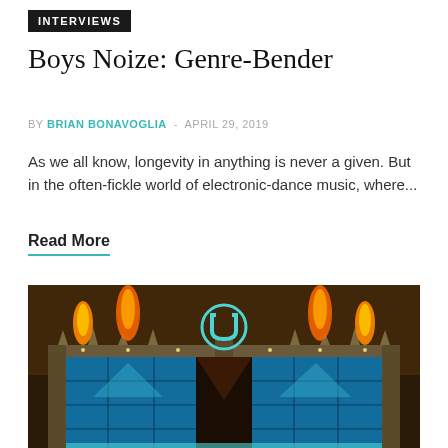INTERVIEWS
Boys Noize: Genre-Bender
BY BRIAN BONAVOGLIA - APRIL 29, 2019
As we all know, longevity in anything is never a given. But in the often-fickle world of electronic-dance music, where...
Read More
[Figure (photo): Concert stage with large U (Ultra) logo, illuminated in blue and teal LED panels, with fire/flame pyrotechnics shooting upward from the top of the stage structure against a dark smoky sky.]